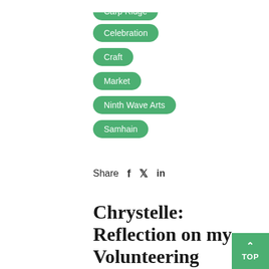Carp Ridge
Celebration
Craft
Market
Ninth Wave Arts
Samhain
Share  f  y  in
Chrystelle: Reflection on my Volunteering Experience at Carp Ridge
April 29, 2020   ♥ 0   💬 0